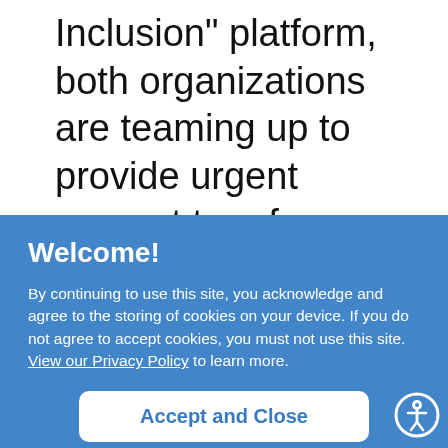Inclusion" platform, both organizations are teaming up to provide urgent support to refugee families, especially those with
Welcome!
By continuing to use this site, you acknowledge and agree to the storing of cookies on your device. If you do not agree to accept cookies, you must not use this site. View our Privacy Policy to learn more.
Accept and Close